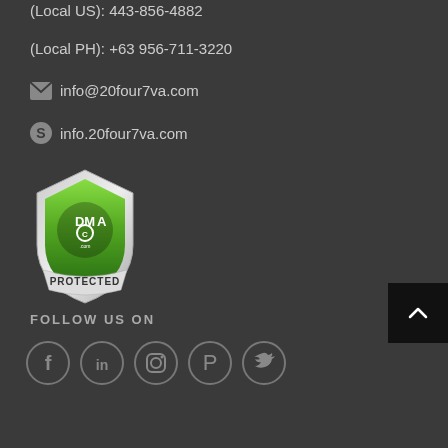(Local US): 443-856-4882
(Local PH): +63 956-711-3220
info@20four7va.com
info.20four7va.com
[Figure (logo): DMCA Protected badge/shield logo in green and silver]
FOLLOW US ON
[Figure (other): Social media icons: Facebook, LinkedIn, Instagram, Pinterest, Twitter in circular grey outlines]